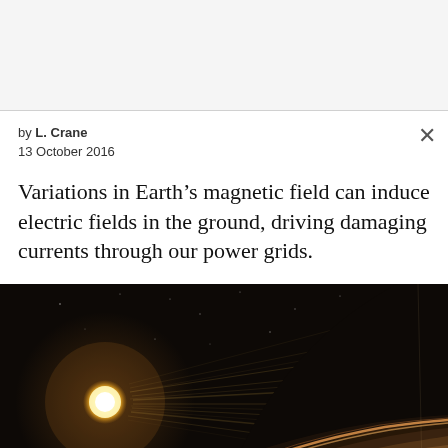by L. Crane
13 October 2016
Variations in Earth’s magnetic field can induce electric fields in the ground, driving damaging currents through our power grids.
[Figure (photo): Artistic illustration of a planet's curved horizon against a dark space background, with a bright sun/star visible to the left and radiating light beams across the scene]